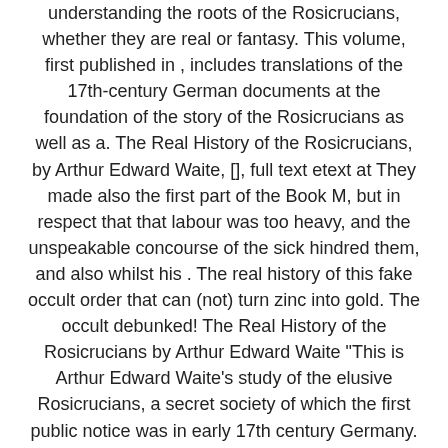understanding the roots of the Rosicrucians, whether they are real or fantasy. This volume, first published in , includes translations of the 17th-century German documents at the foundation of the story of the Rosicrucians as well as a. The Real History of the Rosicrucians, by Arthur Edward Waite, [], full text etext at They made also the first part of the Book M, but in respect that that labour was too heavy, and the unspeakable concourse of the sick hindred them, and also whilst his . The real history of this fake occult order that can (not) turn zinc into gold. The occult debunked! The Real History of the Rosicrucians by Arthur Edward Waite "This is Arthur Edward Waite's study of the elusive Rosicrucians, a secret society of which the first public notice was in early 17th century Germany. Was this an actual organization, or just a fantasy? No actual Rosicrucians ever surfaced, but there was plenty of documentation about them.